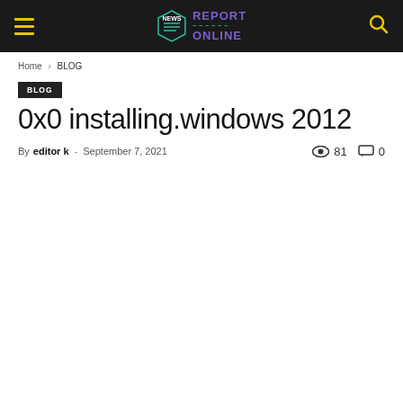Report News Online — site header with hamburger menu, logo, and search icon
Home › BLOG
BLOG
0x0 installing.windows 2012
By editor k - September 7, 2021  81  0